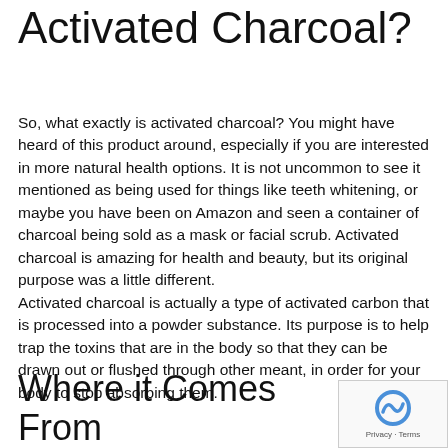Activated Charcoal?
So, what exactly is activated charcoal? You might have heard of this product around, especially if you are interested in more natural health options. It is not uncommon to see it mentioned as being used for things like teeth whitening, or maybe you have been on Amazon and seen a container of charcoal being sold as a mask or facial scrub. Activated charcoal is amazing for health and beauty, but its original purpose was a little different.
Activated charcoal is actually a type of activated carbon that is processed into a powder substance. Its purpose is to help trap the toxins that are in the body so that they can be drawn out or flushed through other meant, in order for your body to stop absorbing them.
Where it Comes From